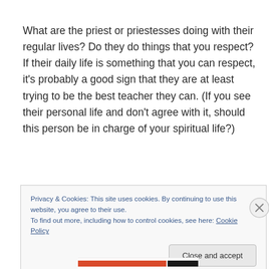What are the priest or priestesses doing with their regular lives? Do they do things that you respect? If their daily life is something that you can respect, it's probably a good sign that they are at least trying to be the best teacher they can. (If you see their personal life and don't agree with it, should this person be in charge of your spiritual life?)
Privacy & Cookies: This site uses cookies. By continuing to use this website, you agree to their use.
To find out more, including how to control cookies, see here: Cookie Policy